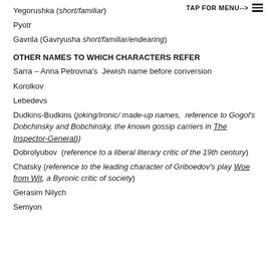Yegorushka (short/familiar)
Pyotr
Gavrila (Gavryusha short/familiar/endearing)
OTHER NAMES TO WHICH CHARACTERS REFER
Sarra – Anna Petrovna's  Jewish name before conversion
Korolkov
Lebedevs
Dudkins-Budkins (joking/ironic/ made-up names,  reference to Gogol's Dobchinsky and Bobchinsky, the known gossip carriers in The Inspector-General))
Dobrolyubov  (reference to a liberal literary critic of the 19th century)
Chatsky (reference to the leading character of Griboedov's play Woe from Wit, a Byronic critic of society)
Gerasim Nilych
Semyon
TAP FOR MENU-->